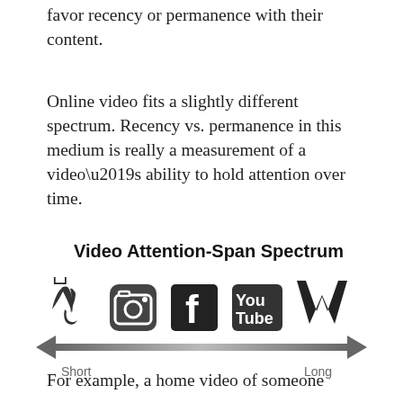favor recency or permanence with their content.
Online video fits a slightly different spectrum. Recency vs. permanence in this medium is really a measurement of a video’s ability to hold attention over time.
Video Attention-Span Spectrum
[Figure (infographic): Video Attention-Span Spectrum diagram showing social media platform logos (Vine, Instagram, Facebook, YouTube, Vimeo) arranged left to right along an arrow from Short to Long.]
For example, a home video of someone